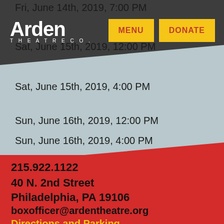[Figure (logo): Arden Theatre Co. logo — white text on dark background]
Fri, June 14th, 2019, 7:00 PM
Sat, June 15th, 2019, 12:00 PM
Sat, June 15th, 2019, 4:00 PM
Sun, June 16th, 2019, 12:00 PM
Sun, June 16th, 2019, 4:00 PM
215.922.1122
40 N. 2nd Street
Philadelphia, PA 19106
boxofficer@ardentheatre.org
Directions and Parking